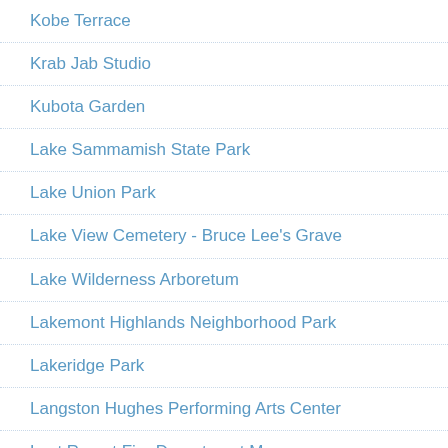Kobe Terrace
Krab Jab Studio
Kubota Garden
Lake Sammamish State Park
Lake Union Park
Lake View Cemetery - Bruce Lee's Grave
Lake Wilderness Arboretum
Lakemont Highlands Neighborhood Park
Lakeridge Park
Langston Hughes Performing Arts Center
Last Resort Fire Department Museum
Leschi Park